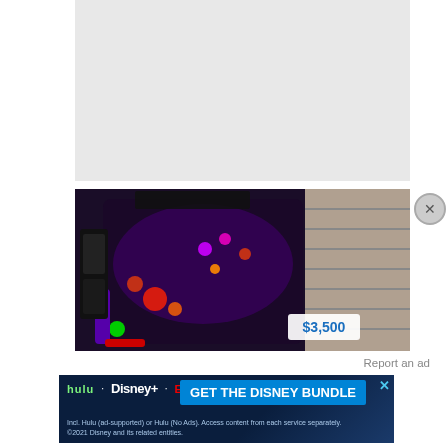[Figure (photo): Gray placeholder/advertisement box]
[Figure (photo): Pinball machine illuminated with colorful lights, viewed from above at an angle, in a room with stairs in the background. Price badge showing $3,500 in bottom right corner.]
Report an ad
[Figure (photo): Disney Bundle advertisement banner showing Hulu, Disney+, and ESPN+ logos with text 'GET THE DISNEY BUNDLE'. Fine print: Incl. Hulu (ad-supported) or Hulu (No Ads). Access content from each service separately. ©2021 Disney and its related entities.]